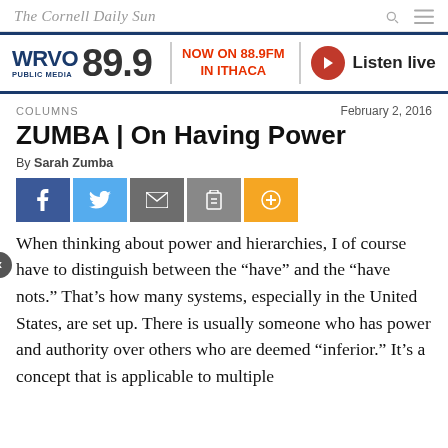The Cornell Daily Sun
[Figure (infographic): WRVO Public Media 89.9 advertisement banner. NOW ON 88.9FM IN ITHACA | Listen live]
COLUMNS
February 2, 2016
ZUMBA | On Having Power
By Sarah Zumba
[Figure (infographic): Social share buttons: Facebook, Twitter, Email, Print, Plus]
When thinking about power and hierarchies, I of course have to distinguish between the “have” and the “have nots.” That’s how many systems, especially in the United States, are set up. There is usually someone who has power and authority over others who are deemed “inferior.” It’s a concept that is applicable to multiple